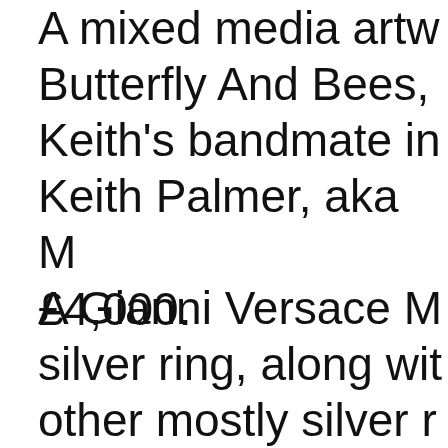A mixed media artw… Butterfly And Bees, Keith's bandmate in Keith Palmer, aka M… £4,000.
A Gianni Versace M… silver ring, along wit… other mostly silver r…